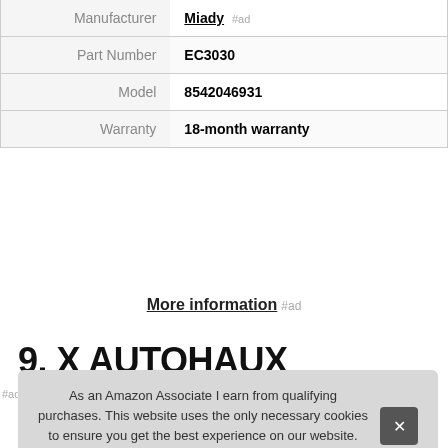|  |  |
| --- | --- |
| Manufacturer | Miady #ad |
| Part Number | EC3030 |
| Model | 8542046931 |
| Warranty | 18-month warranty |
More information #ad
9. X AUTOHAUX
As an Amazon Associate I earn from qualifying purchases. This website uses the only necessary cookies to ensure you get the best experience on our website. More information